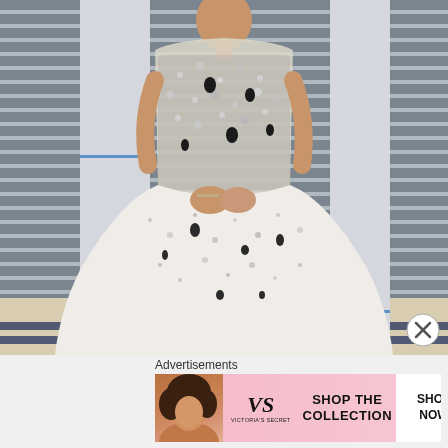[Figure (photo): A woman wearing a glamorous white/silver ball gown with sequins and beading, posing at what appears to be a red carpet event (Vanity Fair Oscars party). Background features horizontal striped grey wall and white pillars.]
Advertisements
[Figure (photo): Victoria's Secret advertisement banner. Shows a model with curly hair on the left, the VS logo and 'Victoria's Secret' text in the center-left, 'SHOP THE COLLECTION' text in the middle, and a white 'SHOP NOW' button on the right. Pink gradient background.]